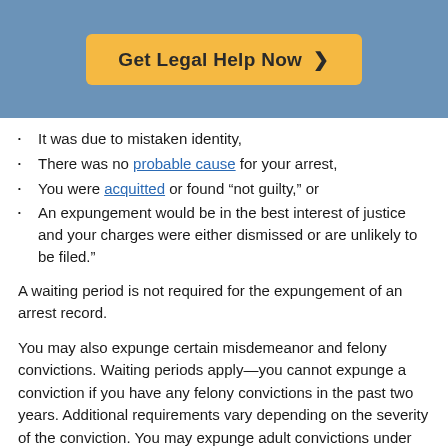[Figure (other): Orange call-to-action button reading 'Get Legal Help Now >' on a blue banner background]
It was due to mistaken identity,
There was no probable cause for your arrest,
You were acquitted or found “not guilty,” or
An expungement would be in the best interest of justice and your charges were either dismissed or are unlikely to be filed.”
A waiting period is not required for the expungement of an arrest record.
You may also expunge certain misdemeanor and felony convictions. Waiting periods apply—you cannot expunge a conviction if you have any felony convictions in the past two years. Additional requirements vary depending on the severity of the conviction. You may expunge adult convictions under the following circumstances: